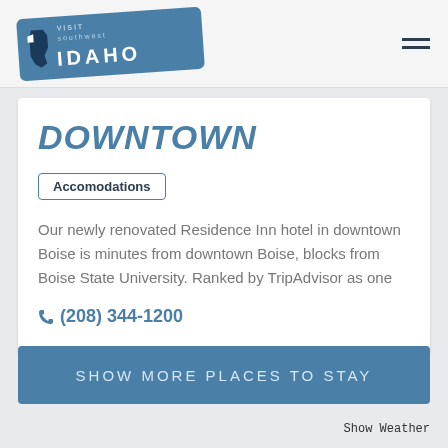[Figure (logo): Visit Southwest Idaho logo on blue tilted badge]
DOWNTOWN
Accomodations
Our newly renovated Residence Inn hotel in downtown Boise is minutes from downtown Boise, blocks from Boise State University. Ranked by TripAdvisor as one
(208) 344-1200
SHOW MORE PLACES TO STAY
Show Weather